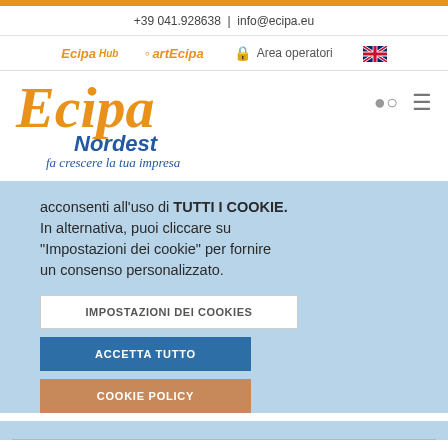+39 041.928638 | info@ecipa.eu
[Figure (logo): Navigation bar with EcipaHub logo, artEcipa logo, Area operatori lock icon, and UK flag]
[Figure (logo): Ecipa Nordest main logo with tagline 'fa crescere la tua impresa', search icon and hamburger menu]
acconsenti all'uso di TUTTI I COOKIE. In alternativa, puoi cliccare su "Impostazioni dei cookie" per fornire un consenso personalizzato.
IMPOSTAZIONI DEI COOKIES
ACCETTA TUTTO
COOKIE POLICY